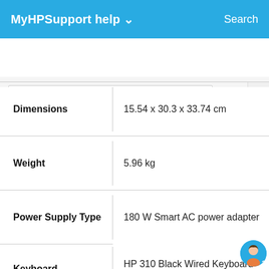MyHPSupport help  Search
What can we help you with?   Cancel
| Attribute | Value |
| --- | --- |
| Dimensions | 15.54 x 30.3 x 33.74 cm |
| Weight | 5.96 kg |
| Power Supply Type | 180 W Smart AC power adapter |
| Keyboard | HP 310 Black Wired Keyboard and mouse combo |